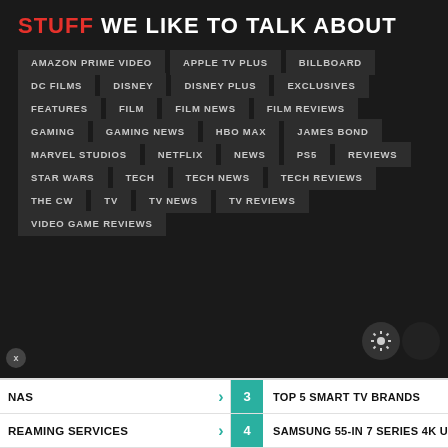STUFF WE LIKE TO TALK ABOUT
AMAZON PRIME VIDEO
APPLE TV PLUS
BILLBOARD
DC FILMS
DISNEY
DISNEY PLUS
EXCLUSIVES
FEATURES
FILM
FILM NEWS
FILM REVIEWS
GAMING
GAMING NEWS
HBO MAX
JAMES BOND
MARVEL STUDIOS
NETFLIX
NEWS
PS5
REVIEWS
STAR WARS
TECH
TECH NEWS
TECH REVIEWS
THE CW
TV
TV NEWS
TV REVIEWS
VIDEO GAME REVIEWS
NAS · 3 · TOP 5 SMART TV BRANDS
REAMING SERVICES · 4 · SAMSUNG 55-IN 7 SERIES 4K U